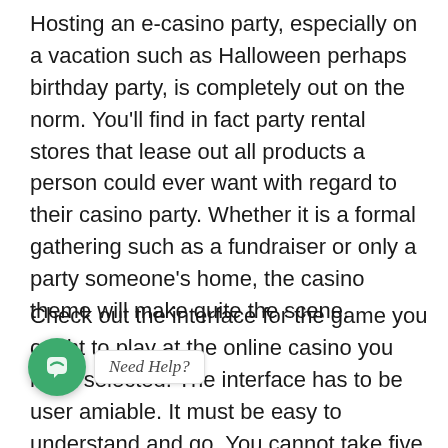Hosting an e-casino party, especially on a vacation such as Halloween perhaps birthday party, is completely out on the norm. You’ll find in fact party rental stores that lease out all products a person could ever want with regard to their casino party. Whether it is a formal gathering such as a fundraiser or only a party someone’s home, the casino theme will make quite the scene.
Check out the interface for the game you ought to play at the online casino you have selected. The interface has to be user amiable. It must be easy to understand and go. You cannot take five days in order to un…nc… you should be able to press the ‘play’ and ‘deal’ buttons at the drop in the hat. It has to
[Figure (other): Chat widget with green circular button containing a chat icon and a tooltip label reading 'Need Help?' in decorative script font]